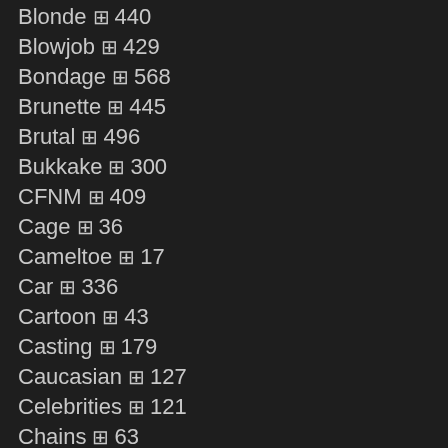Blonde 🎞 440
Blowjob 🎞 429
Bondage 🎞 568
Brunette 🎞 445
Brutal 🎞 496
Bukkake 🎞 300
CFNM 🎞 409
Cage 🎞 36
Cameltoe 🎞 17
Car 🎞 336
Cartoon 🎞 43
Casting 🎞 179
Caucasian 🎞 127
Celebrities 🎞 121
Chains 🎞 63
Chubby 🎞 88
Close Up 🎞 176
College 🎞 331